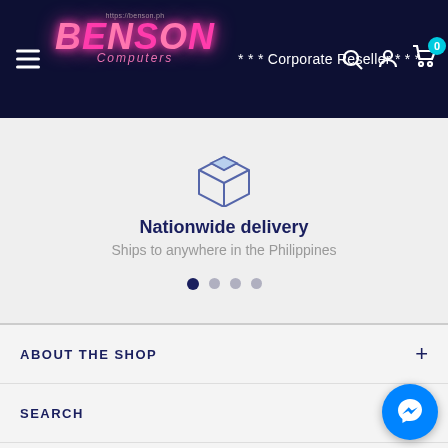https://benson.ph BENSON Computers *** Corporate Reseller ***
Nationwide delivery
Ships to anywhere in the Philippines
ABOUT THE SHOP
SEARCH
NEWSLETTER